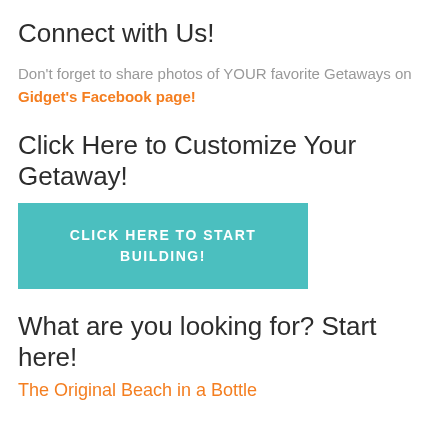Connect with Us!
Don't forget to share photos of YOUR favorite Getaways on Gidget's Facebook page!
Click Here to Customize Your Getaway!
[Figure (other): Teal button with white uppercase text reading CLICK HERE TO START BUILDING!]
What are you looking for? Start here!
The Original Beach in a Bottle